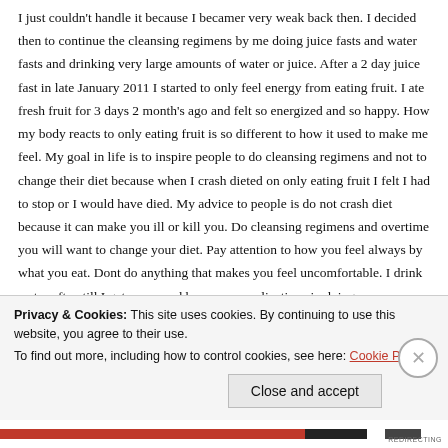I just couldn't handle it because I becamer very weak back then. I decided then to continue the cleansing regimens by me doing juice fasts and water fasts and drinking very large amounts of water or juice. After a 2 day juice fast in late January 2011 I started to only feel energy from eating fruit. I ate fresh fruit for 3 days 2 month's ago and felt so energized and so happy. How my body reacts to only eating fruit is so different to how it used to make me feel. My goal in life is to inspire people to do cleansing regimens and not to change their diet because when I crash dieted on only eating fruit I felt I had to stop or I would have died. My advice to people is do not crash diet because it can make you ill or kill you. Do cleansing regimens and overtime you will want to change your diet. Pay attention to how you feel always by what you eat. Dont do anything that makes you feel uncomfortable. I drink water often till I get nausa and have no complications in doing
Privacy & Cookies: This site uses cookies. By continuing to use this website, you agree to their use. To find out more, including how to control cookies, see here: Cookie Policy
Close and accept